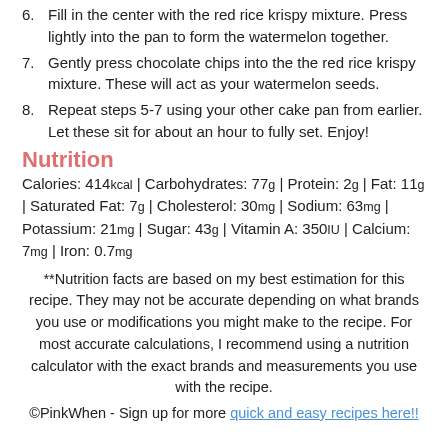6. Fill in the center with the red rice krispy mixture. Press lightly into the pan to form the watermelon together.
7. Gently press chocolate chips into the the red rice krispy mixture. These will act as your watermelon seeds.
8. Repeat steps 5-7 using your other cake pan from earlier. Let these sit for about an hour to fully set. Enjoy!
Nutrition
Calories: 414kcal | Carbohydrates: 77g | Protein: 2g | Fat: 11g | Saturated Fat: 7g | Cholesterol: 30mg | Sodium: 63mg | Potassium: 21mg | Sugar: 43g | Vitamin A: 350IU | Calcium: 7mg | Iron: 0.7mg
**Nutrition facts are based on my best estimation for this recipe. They may not be accurate depending on what brands you use or modifications you might make to the recipe. For most accurate calculations, I recommend using a nutrition calculator with the exact brands and measurements you use with the recipe.
©PinkWhen - Sign up for more quick and easy recipes here!!